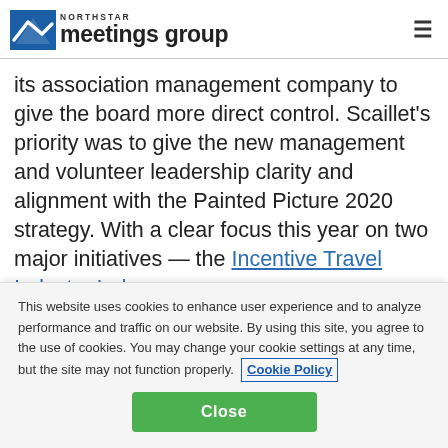Northstar meetings group
its association management company to give the board more direct control. Scaillet's priority was to give the new management and volunteer leadership clarity and alignment with the Painted Picture 2020 strategy. With a clear focus this year on two major initiatives — the Incentive Travel Industry Index
This website uses cookies to enhance user experience and to analyze performance and traffic on our website. By using this site, you agree to the use of cookies. You may change your cookie settings at any time, but the site may not function properly. Cookie Policy
Close